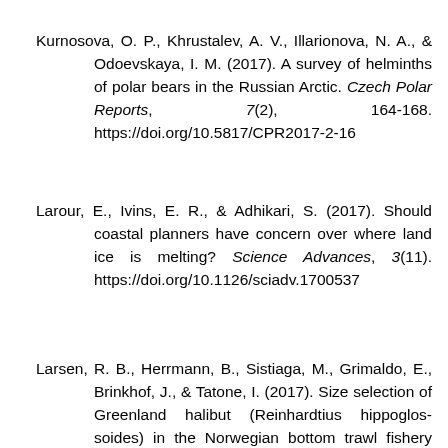Kurnosova, O. P., Khrustalev, A. V., Illarionova, N. A., & Odoevskaya, I. M. (2017). A survey of helminths of polar bears in the Russian Arctic. Czech Polar Reports, 7(2), 164-168. https://doi.org/10.5817/CPR2017-2-16
Larour, E., Ivins, E. R., & Adhikari, S. (2017). Should coastal planners have concern over where land ice is melting? Science Advances, 3(11). https://doi.org/10.1126/sciadv.1700537
Larsen, R. B., Herrmann, B., Sistiaga, M., Grimaldo, E., Brinkhof, J., & Tatone, I. (2017). Size selection of Greenland halibut (Reinhardtius hippoglossoides) in the Norwegian bottom trawl fishery with a...